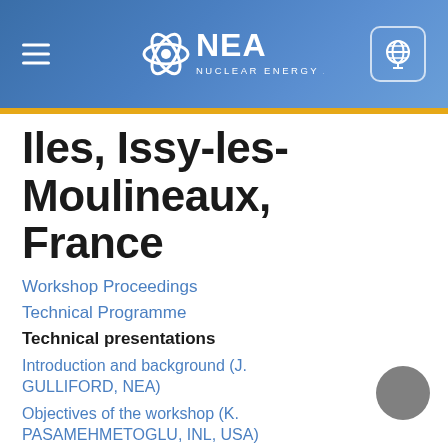NEA – Nuclear Energy Agency
Iles, Issy-les-Moulineaux, France
Workshop Proceedings
Technical Programme
Technical presentations
Introduction and background (J. GULLIFORD, NEA)
Objectives of the workshop (K. PASAMEHMETOGLU, INL, USA)
Session 1: Lessons learned from the Fukushima accident
Current understanding of the sequence of events (J.